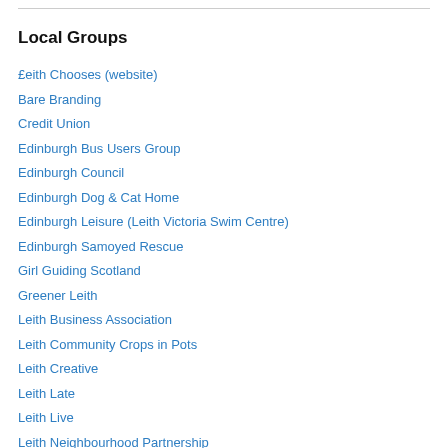Local Groups
£eith Chooses (website)
Bare Branding
Credit Union
Edinburgh Bus Users Group
Edinburgh Council
Edinburgh Dog & Cat Home
Edinburgh Leisure (Leith Victoria Swim Centre)
Edinburgh Samoyed Rescue
Girl Guiding Scotland
Greener Leith
Leith Business Association
Leith Community Crops in Pots
Leith Creative
Leith Late
Leith Live
Leith Neighbourhood Partnership
Leith Theatre